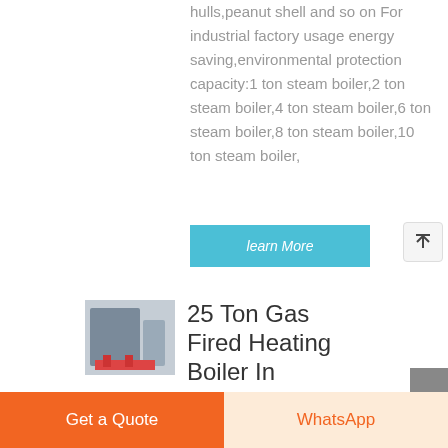hulls,peanut shell and so on For industrial factory usage energy saving,environmental protection capacity:1 ton steam boiler,2 ton steam boiler,4 ton steam boiler,6 ton steam boiler,8 ton steam boiler,10 ton steam boiler,
learn More
[Figure (photo): Industrial gas fired heating boiler unit in a factory setting]
25 Ton Gas Fired Heating Boiler In
Get a Quote
WhatsApp